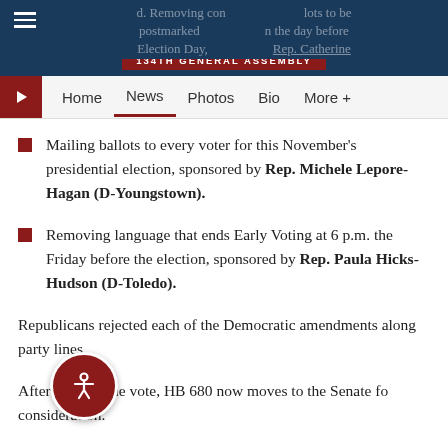The Ohio House of Representatives 134th General Assembly
Mailing ballots to every voter for this November's presidential election, sponsored by Rep. Michele Lepore-Hagan (D-Youngstown).
Removing language that ends Early Voting at 6 p.m. the Friday before the election, sponsored by Rep. Paula Hicks-Hudson (D-Toledo).
Republicans rejected each of the Democratic amendments along party lines.
After a party-line vote, HB 680 now moves to the Senate for consideration.